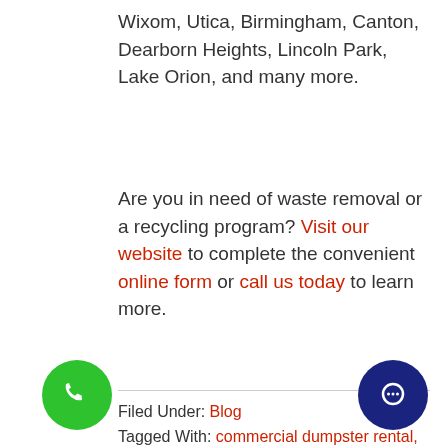Wixom, Utica, Birmingham, Canton, Dearborn Heights, Lincoln Park, Lake Orion, and many more.
Are you in need of waste removal or a recycling program? Visit our website to complete the convenient online form or call us today to learn more.
Filed Under: Blog
Tagged With: commercial dumpster rental, dumpster rental, dumpster reservation, Michigan dumpster rental, Priority Waste, recycling programs, reserve a dumpster, residential dumpster rental, waste removal